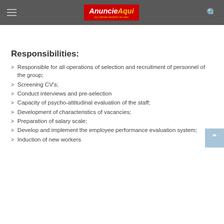AnuncieAqui
Responsibilities:
Responsible for all operations of selection and recruitment of personnel of the group;
Screening CV's;
Conduct interviews and pre-selection
Capacity of psycho-attitudinal evaluation of the staff;
Development of characteristics of vacancies;
Preparation of salary scale;
Develop and implement the employee performance evaluation system;
Induction of new workers